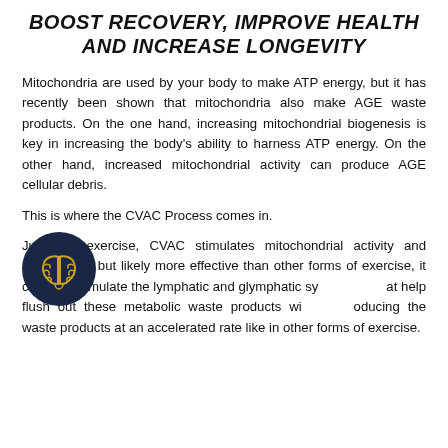BOOST RECOVERY, IMPROVE HEALTH AND INCREASE LONGEVITY
Mitochondria are used by your body to make ATP energy, but it has recently been shown that mitochondria also make AGE waste products. On the one hand, increasing mitochondrial biogenesis is key in increasing the body's ability to harness ATP energy. On the other hand, increased mitochondrial activity can produce AGE cellular debris.
This is where the CVAC Process comes in.
Just like exercise, CVAC stimulates mitochondrial activity and metabolism, but likely more effective than other forms of exercise, it can also stimulate the lymphatic and glymphatic systems that help flush out these metabolic waste products without producing the waste products at an accelerated rate like in other forms of exercise.
[Figure (illustration): Dark navy circle icon with a golden brain illustration inside]